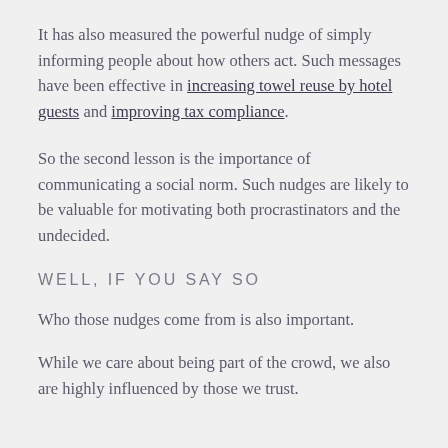It has also measured the powerful nudge of simply informing people about how others act. Such messages have been effective in increasing towel reuse by hotel guests and improving tax compliance.
So the second lesson is the importance of communicating a social norm. Such nudges are likely to be valuable for motivating both procrastinators and the undecided.
WELL, IF YOU SAY SO
Who those nudges come from is also important.
While we care about being part of the crowd, we also are highly influenced by those we trust.